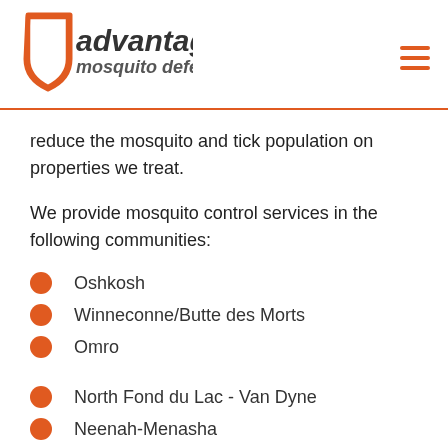advantage mosquito defense
reduce the mosquito and tick population on properties we treat.
We provide mosquito control services in the following communities:
Oshkosh
Winneconne/Butte des Morts
Omro
North Fond du Lac - Van Dyne
Neenah-Menasha
Pl...